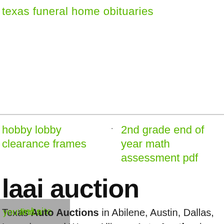texas funeral home obituaries
hobby lobby clearance frames
2nd grade end of year math assessment pdf
laai auction
you find a
good idea
on a
Texas Auto Auctions in Abilene, Austin, Dallas, Longview, and Waco. Alliance Auto Auction is a rapidly growing family of auto auctions providing vehicle remarketing services to
website